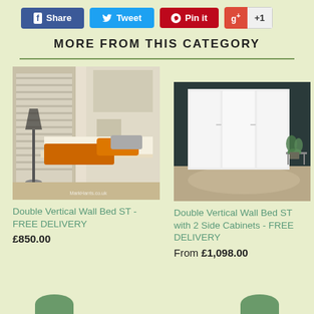[Figure (screenshot): Social sharing buttons row: Facebook Share (blue), Twitter Tweet (light blue), Pinterest Pin it (red), Google +1 (red and white)]
MORE FROM THIS CATEGORY
[Figure (photo): Double Vertical Wall Bed ST - a wall bed with orange throw, white bedding, in a modern room with plantation shutters]
Double Vertical Wall Bed ST - FREE DELIVERY
£850.00
[Figure (photo): Double Vertical Wall Bed ST with 2 Side Cabinets - a closed white wall bed cabinet unit in a modern room]
Double Vertical Wall Bed ST with 2 Side Cabinets - FREE DELIVERY
From £1,098.00